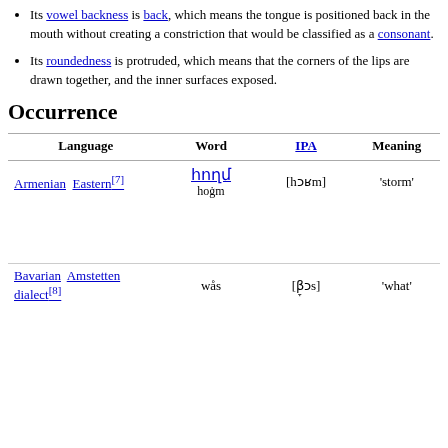Its vowel backness is back, which means the tongue is positioned back in the mouth without creating a constriction that would be classified as a consonant.
Its roundedness is protruded, which means that the corners of the lips are drawn together, and the inner surfaces exposed.
Occurrence
| Language | Word | IPA | Meaning |
| --- | --- | --- | --- |
| Armenian  Eastern[7] | հողմ / hogm | [hɔʁm] | 'storm' |
| Bavarian  Amstetten dialect[8] | wås | [β̞ɔs] | 'what' |